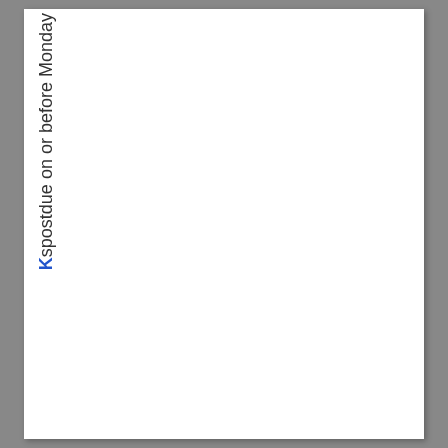Kspons t due on or before Monday